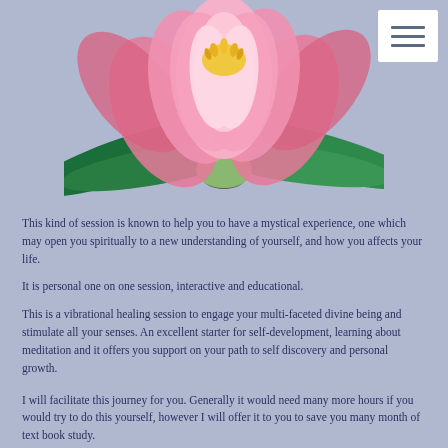[Figure (illustration): A pink lotus flower with green leaves and stem on a lavender/periwinkle background. The flower has layered pink petals with golden stamens in the center.]
This kind of session is known to help you to have a mystical experience, one which may open you spiritually to a new understanding of yourself, and how you affects your life.
It is personal one on one session, interactive and educational.
This is a vibrational healing session to engage your multi-faceted divine being and stimulate all your senses. An excellent starter for self-development, learning about meditation and it offers you support on your path to self discovery and personal growth.
I will facilitate this journey for you. Generally it would need many more hours if you would try to do this yourself, however I will offer it to you to save you many month of text book study.